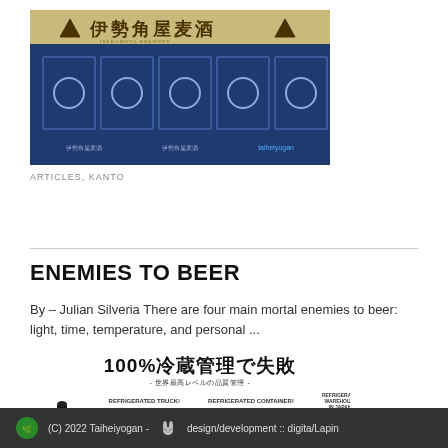[Figure (photo): Photo of a Japanese restaurant/store front with a golden banner showing Japanese characters and blue noren curtains with circular mon emblems]
ARTICLES, KANTO
[Figure (infographic): Beer cold chain infographic in Japanese with text '100%冷蔵管理で失敗 -世界最高レベルの品質管理-' showing refrigerated truck, refrigerated container, refrigerated warehouse icons]
ENEMIES TO BEER
By – Julian Silveria There are four main mortal enemies to beer: light, time, temperature, and personal ...
(C) 2022 Taiheiyogan - design/development :: digita/Lapin